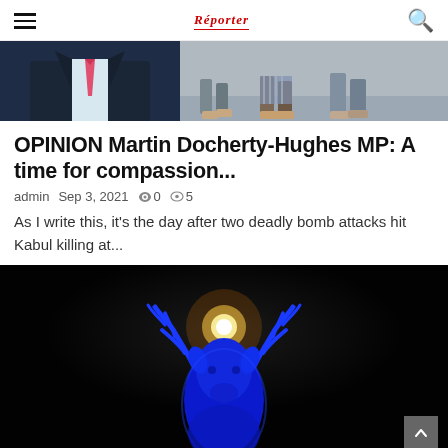Reporter
[Figure (photo): Top image split: left side shows a man in a dark suit with a pink/red tie, right side shows people walking on a wet surface with sandals visible]
OPINION Martin Docherty-Hughes MP: A time for compassion...
admin  Sep 3, 2021  0  5
As I write this, it's the day after two deadly bomb attacks hit Kabul killing at...
[Figure (photo): A glowing blue deer/stag silhouette with large antlers set against a dark background, with a glowing orange/white sun or orb visible between the antlers]